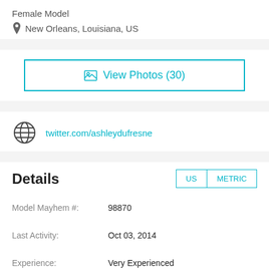Female Model
New Orleans, Louisiana, US
View Photos (30)
twitter.com/ashleydufresne
Details
| Label | Value |
| --- | --- |
| Model Mayhem #: | 98870 |
| Last Activity: | Oct 03, 2014 |
| Experience: | Very Experienced |
| Compensation: | Depends on Assignment |